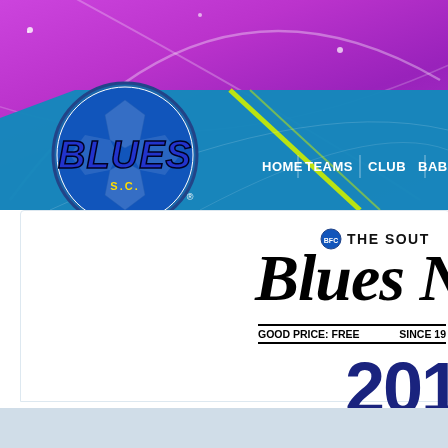[Figure (screenshot): Blues Soccer Club website header banner with purple gradient background, decorative light arcs, teal/blue navigation bar, BLUES soccer logo on left, navigation links: HOME, TEAMS, CLUB, BABY BLU...]
THE SOUT Blues N
GOOD PRICE: FREE    SINCE 19
201